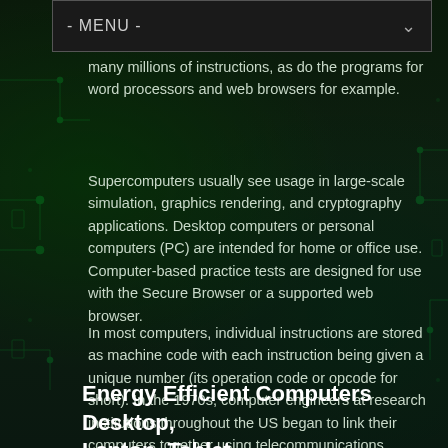many millions of instructions, as do the programs for word processors and web browsers for example.
Supercomputers usually see usage in large-scale simulation, graphics rendering, and cryptography applications. Desktop computers or personal computers (PC) are intended for home or office use. Computer-based practice tests are designed for use with the Secure Browser or a supported web browser.
In most computers, individual instructions are stored as machine code with each instruction being given a unique number (its operation code or opcode for short). In the 1970s, computer engineers at research institutions throughout the US began to link their computers together using telecommunications technology.
Energy Efficient Computers Desktop, Laptop, Tablet